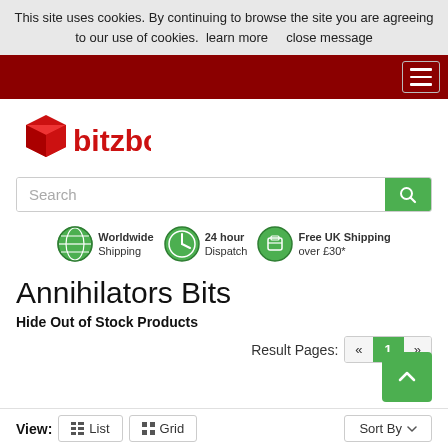This site uses cookies. By continuing to browse the site you are agreeing to our use of cookies.  learn more     close message
[Figure (logo): Bitzbox logo with red box icon and red text reading 'bitzbox']
Search
[Figure (infographic): Three shipping badge icons: Worldwide Shipping, 24 hour Dispatch, Free UK Shipping over £30*]
Annihilators Bits
Hide Out of Stock Products
Result Pages:  «  1  »
View:  List  Grid
Sort By